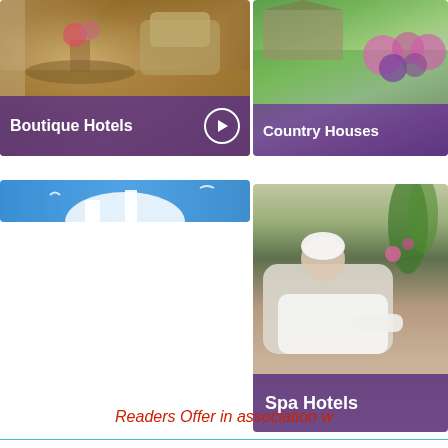[Figure (photo): Boutique Hotels card with ornate interior room featuring antique chair, flowers, and golden tones. Purple overlay at bottom with 'Boutique Hotels' label and play button icon.]
[Figure (photo): Country Houses card with garden scene featuring green lawn, pink flowers, and a country house. Purple overlay at bottom with 'Country Houses' label.]
[Figure (photo): Blue banner card with a blue sky background and white silhouettes of a dome/arch structure.]
[Figure (photo): Spa Hotels card showing a person in white robe relaxing in a spa chair with orchid plants in background. Purple overlay at bottom with 'Spa Hotels' label.]
Readers Offer in association w